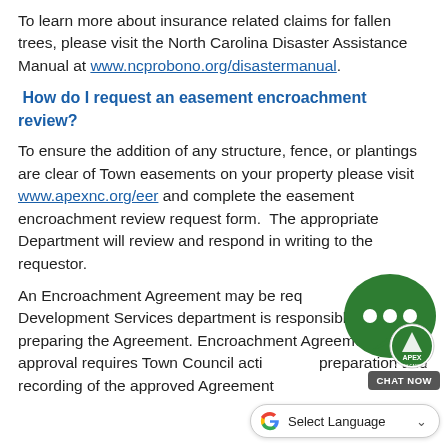To learn more about insurance related claims for fallen trees, please visit the North Carolina Disaster Assistance Manual at www.ncprobono.org/disastermanual.
How do I request an easement encroachment review?
To ensure the addition of any structure, fence, or plantings are clear of Town easements on your property please visit www.apexnc.org/eer and complete the easement encroachment review request form. The appropriate Department will review and respond in writing to the requestor.
An Encroachment Agreement may be req... Development Services department is responsible for preparing the Agreement. Encroachment Agreement approval requires Town Council acti... preparation and recording of the approved Agreement
[Figure (other): Chat now widget with Apex North Carolina logo — a green speech bubble with dots and a green circular Apex logo badge, with a dark 'CHAT NOW' button below.]
[Figure (other): Google Translate 'Select Language' dropdown bar with Google G logo and dropdown arrow.]